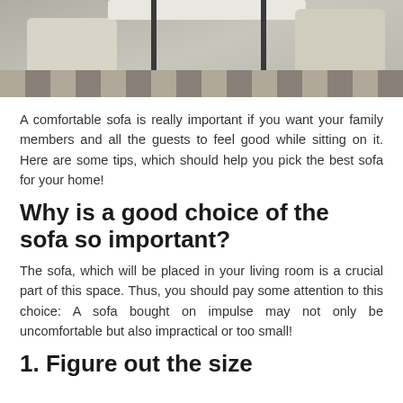[Figure (photo): Interior photo showing modern furniture: a table with black legs and light top, chairs on either side, checkered floor pattern]
A comfortable sofa is really important if you want your family members and all the guests to feel good while sitting on it. Here are some tips, which should help you pick the best sofa for your home!
Why is a good choice of the sofa so important?
The sofa, which will be placed in your living room is a crucial part of this space. Thus, you should pay some attention to this choice: A sofa bought on impulse may not only be uncomfortable but also impractical or too small!
1. Figure out the size